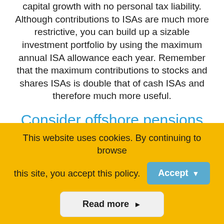capital growth with no personal tax liability. Although contributions to ISAs are much more restrictive, you can build up a sizable investment portfolio by using the maximum annual ISA allowance each year. Remember that the maximum contributions to stocks and shares ISAs is double that of cash ISAs and therefore much more useful.
Consider offshore pensions
Are you worried that your pension fund might exceed the Standard Lifetime Allowance (SLTA) limit costing
This website uses cookies. By continuing to browse this site, you accept this policy.
Accept ▾
Read more ▶